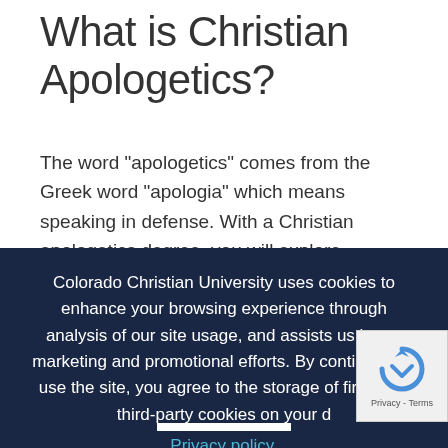What is Christian Apologetics?
The word "apologetics" comes from the Greek word "apologia" which means speaking in defense. With a Christian apologetics degree, you will explore hermeneutics and dive deep
Colorado Christian University uses cookies to enhance your browsing experience through analysis of our site usage, and assists us in our marketing and promotional efforts. By continuing to use the site, you agree to the storage of first- and third-party cookies on your d
Privacy policy.
Request Info   Apply   Call Us